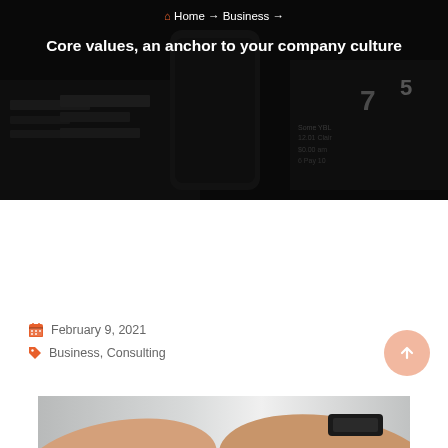[Figure (photo): Dark hero banner with blurred background showing a phone and documents/calendar on a dark surface]
🏠 Home → Business → Core values, an anchor to your company culture
Core values, an anchor to your company culture
February 9, 2021
Business, Consulting
[Figure (photo): Two people shaking hands, one wearing a dark watch with leather band, light gray background]